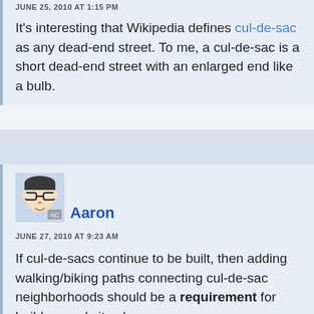JUNE 25, 2010 AT 1:15 PM
It's interesting that Wikipedia defines cul-de-sac as any dead-end street. To me, a cul-de-sac is a short dead-end street with an enlarged end like a bulb.
[Figure (illustration): Avatar of commenter Aaron - cartoon face with glasses, labeled AC]
Aaron
JUNE 27, 2010 AT 9:23 AM
If cul-de-sacs continue to be built, then adding walking/biking paths connecting cul-de-sac neighborhoods should be a requirement for builders and city planners.